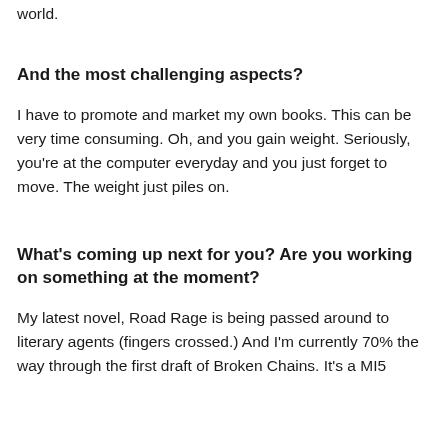world.
And the most challenging aspects?
I have to promote and market my own books. This can be very time consuming. Oh, and you gain weight. Seriously, you're at the computer everyday and you just forget to move. The weight just piles on.
What's coming up next for you? Are you working on something at the moment?
My latest novel, Road Rage is being passed around to literary agents (fingers crossed.) And I'm currently 70% the way through the first draft of Broken Chains. It's a MI5